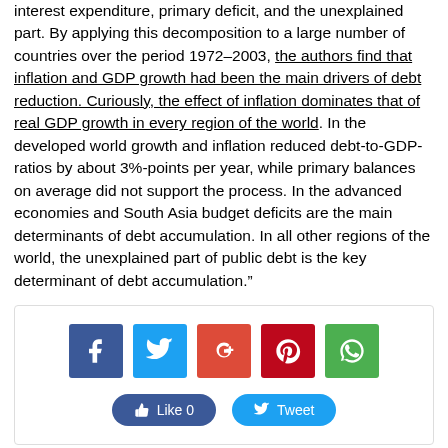interest expenditure, primary deficit, and the unexplained part. By applying this decomposition to a large number of countries over the period 1972–2003, the authors find that inflation and GDP growth had been the main drivers of debt reduction. Curiously, the effect of inflation dominates that of real GDP growth in every region of the world. In the developed world growth and inflation reduced debt-to-GDP-ratios by about 3%-points per year, while primary balances on average did not support the process. In the advanced economies and South Asia budget deficits are the main determinants of debt accumulation. In all other regions of the world, the unexplained part of public debt is the key determinant of debt accumulation."
[Figure (infographic): Social media share buttons: Facebook (blue), Twitter (light blue), Google+ (red-orange), Pinterest (dark red), WhatsApp (green). Below: Like 0 button and Tweet button.]